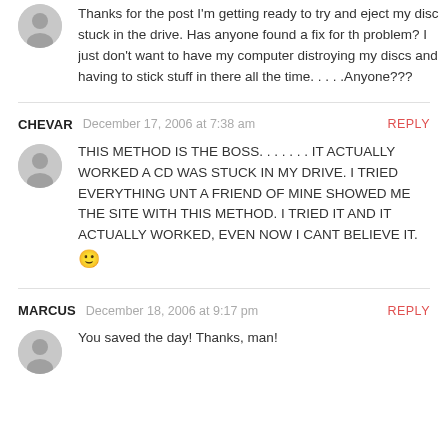Thanks for the post I'm getting ready to try and eject my disc stuck in the drive. Has anyone found a fix for the problem? I just don't want to have my computer distroying my discs and having to stick stuff in there all the time. . . . .Anyone???
CHEVAR  December 17, 2006 at 7:38 am  REPLY
THIS METHOD IS THE BOSS. . . . . . . IT ACTUALLY WORKED A CD WAS STUCK IN MY DRIVE. I TRIED EVERYTHING UNTIL A FRIEND OF MINE SHOWED ME THE SITE WITH THIS METHOD. I TRIED IT AND IT ACTUALLY WORKED, EVEN NOW I CANT BELIEVE IT. 🙂
MARCUS  December 18, 2006 at 9:17 pm  REPLY
You saved the day! Thanks, man!